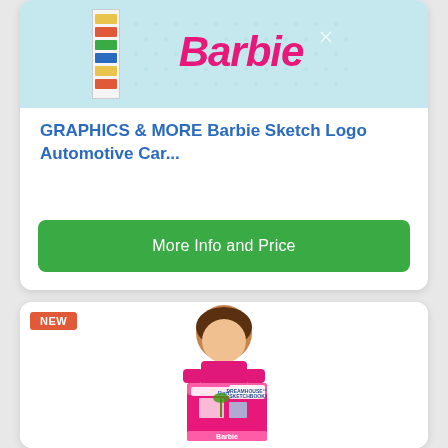[Figure (photo): Barbie Sketch Logo product image on teal/blue dotted background with sticker strip on left side]
GRAPHICS & MORE Barbie Sketch Logo Automotive Car...
More Info and Price
[Figure (photo): NEW badge label on product card showing a girl holding a Barbie Dreamhouse Adventure Sketchbook]
NEW